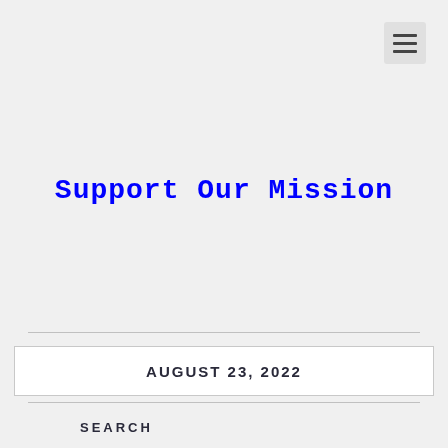[Figure (other): Hamburger menu icon button in top-right corner]
Support Our Mission
AUGUST 23, 2022
SEARCH